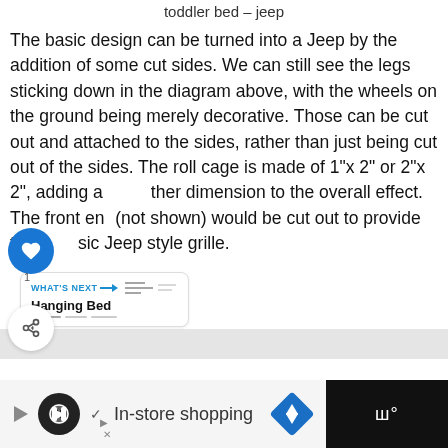toddler bed – jeep
The basic design can be turned into a Jeep by the addition of some cut sides. We can still see the legs sticking down in the diagram above, with the wheels on the ground being merely decorative. Those can be cut out and attached to the sides, rather than just being cut out of the sides. The roll cage is made of 1"x 2" or 2"x 2", adding another dimension to the overall effect. The front end (not shown) would be cut out to provide the classic Jeep style grille.
WHAT'S NEXT → Hanging Bed